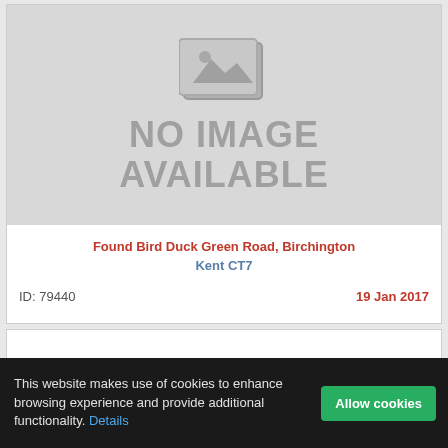[Figure (other): No image available placeholder with a greyed-out image icon and text 'NO IMAGE AVAILABLE']
Found Bird Duck Green Road, Birchington
Kent CT7
ID: 79440
19 Jan 2017
[Figure (other): Second card, partially visible at bottom]
This website makes use of cookies to enhance browsing experience and provide additional functionality. Details
Allow cookies